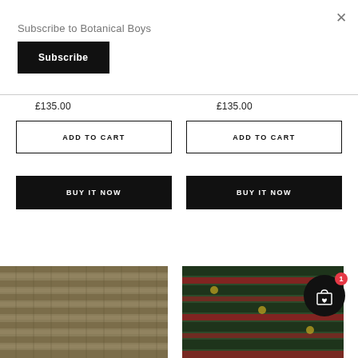Subscribe to Botanical Boys
Subscribe
×
£135.00
£135.00
ADD TO CART
ADD TO CART
BUY IT NOW
BUY IT NOW
[Figure (photo): Decorative pillow with woven pattern in dark olive/beige tones]
[Figure (photo): Decorative pillow with colorful ikat pattern in green/red]
[Figure (illustration): Shopping cart icon with heart and badge showing count 1]